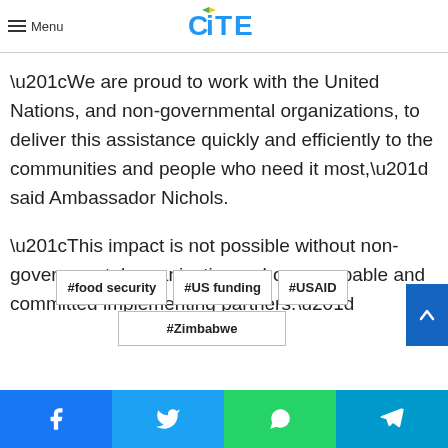Menu | CITE logo
“We are proud to work with the United Nations, and non-governmental organizations, to deliver this assistance quickly and efficiently to the communities and people who need it most,” said Ambassador Nichols.
“This impact is not possible without non-governmental organizations who are capable and committed implementing partners.”
#food security
#US funding
#USAID
#Zimbabwe
Facebook | Twitter | WhatsApp | Telegram